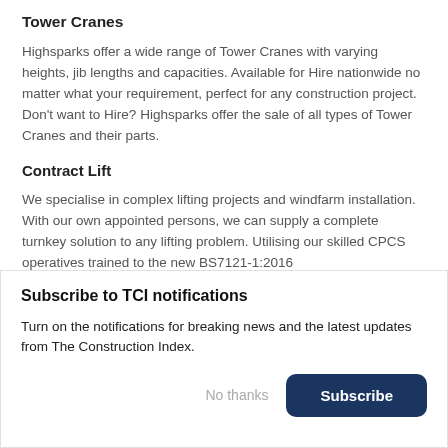Tower Cranes
Highsparks offer a wide range of Tower Cranes with varying heights, jib lengths and capacities. Available for Hire nationwide no matter what your requirement, perfect for any construction project. Don't want to Hire? Highsparks offer the sale of all types of Tower Cranes and their parts.
Contract Lift
We specialise in complex lifting projects and windfarm installation. With our own appointed persons, we can supply a complete turnkey solution to any lifting problem. Utilising our skilled CPCS operatives trained to the new BS7121-1:2016
Subscribe to TCI notifications
Turn on the notifications for breaking news and the latest updates from The Construction Index.
No thanks
Subscribe